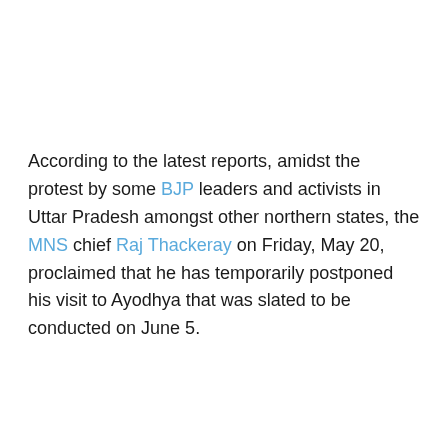According to the latest reports, amidst the protest by some BJP leaders and activists in Uttar Pradesh amongst other northern states, the MNS chief Raj Thackeray on Friday, May 20, proclaimed that he has temporarily postponed his visit to Ayodhya that was slated to be conducted on June 5.